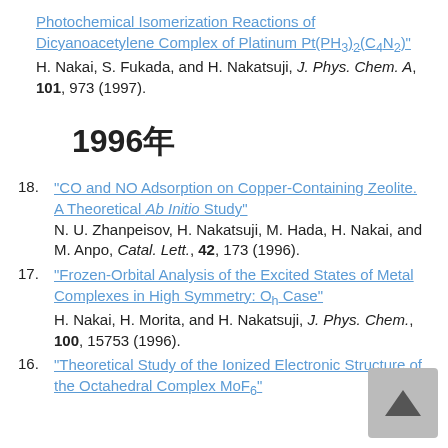Photochemical Isomerization Reactions of Dicyanoacetylene Complex of Platinum Pt(PH3)2(C4N2)" H. Nakai, S. Fukada, and H. Nakatsuji, J. Phys. Chem. A, 101, 973 (1997).
1996年
18. "CO and NO Adsorption on Copper-Containing Zeolite. A Theoretical Ab Initio Study" N. U. Zhanpeisov, H. Nakatsuji, M. Hada, H. Nakai, and M. Anpo, Catal. Lett., 42, 173 (1996).
17. "Frozen-Orbital Analysis of the Excited States of Metal Complexes in High Symmetry: Oh Case" H. Nakai, H. Morita, and H. Nakatsuji, J. Phys. Chem., 100, 15753 (1996).
16. "Theoretical Study of the Ionized Electronic Structure of the Octahedral Complex MoF6"